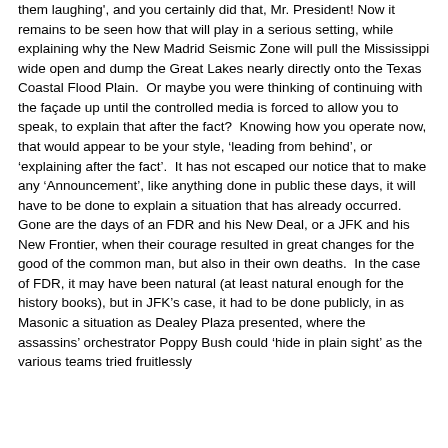them laughing', and you certainly did that, Mr. President!

Now it remains to be seen how that will play in a serious setting, while explaining why the New Madrid Seismic Zone will pull the Mississippi wide open and dump the Great Lakes nearly directly onto the Texas Coastal Flood Plain. Or maybe you were thinking of continuing with the façade up until the controlled media is forced to allow you to speak, to explain that after the fact? Knowing how you operate now, that would appear to be your style, 'leading from behind', or 'explaining after the fact'. It has not escaped our notice that to make any 'Announcement', like anything done in public these days, it will have to be done to explain a situation that has already occurred. Gone are the days of an FDR and his New Deal, or a JFK and his New Frontier, when their courage resulted in great changes for the good of the common man, but also in their own deaths. In the case of FDR, it may have been natural (at least natural enough for the history books), but in JFK's case, it had to be done publicly, in as Masonic a situation as Dealey Plaza presented, where the assassins' orchestrator Poppy Bush could 'hide in plain sight' as the various teams tried fruitlessly